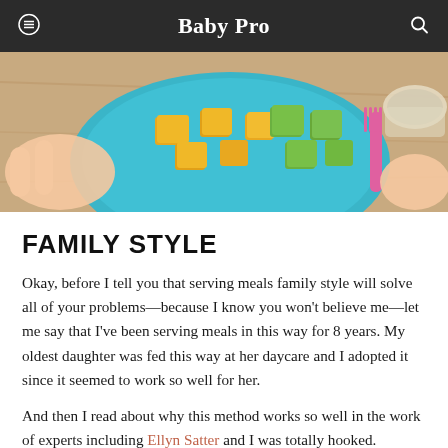Baby Pro
[Figure (photo): Overhead view of a blue plate with cubed yellow cheese and green avocado pieces, a pink fork on a wooden table surface, with children's hands visible.]
FAMILY STYLE
Okay, before I tell you that serving meals family style will solve all of your problems—because I know you won't believe me—let me say that I've been serving meals in this way for 8 years. My oldest daughter was fed this way at her daycare and I adopted it since it seemed to work so well for her.
And then I read about why this method works so well in the work of experts including Ellyn Satter and I was totally hooked.
My goal with family meals is to create an environment where